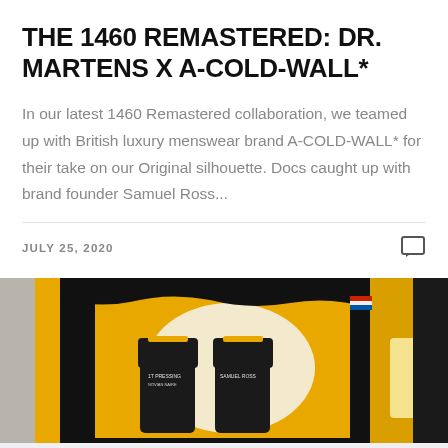THE 1460 REMASTERED: DR. MARTENS X A-COLD-WALL*
In our latest 1460 Remastered collaboration, we teamed up with British luxury menswear brand A-COLD-WALL* for their take on our Original silhouette. Docs caught up with brand founder Samuel Ross...
JULY 25, 2020
[Figure (photo): A graffiti/street-art style photograph showing Dr. Martens boots with yellow, black, and white abstract paint splashes and brushstrokes forming a dramatic backdrop.]